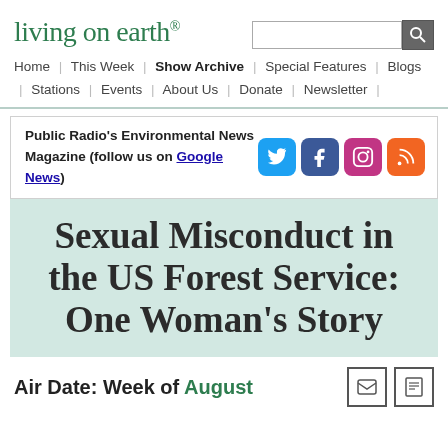living on earth®
Home | This Week | Show Archive | Special Features | Blogs | Stations | Events | About Us | Donate | Newsletter
Public Radio's Environmental News Magazine (follow us on Google News)
Sexual Misconduct in the US Forest Service: One Woman's Story
Air Date: Week of August